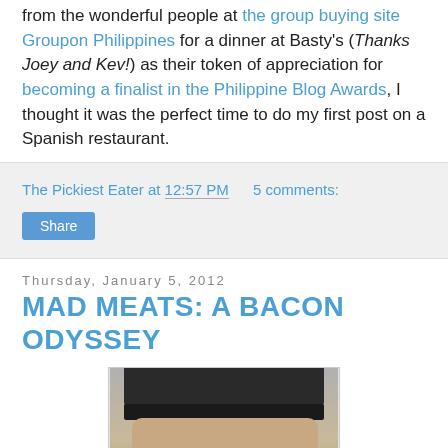from the wonderful people at the group buying site Groupon Philippines for a dinner at Basty's (Thanks Joey and Kev!) as their token of appreciation for becoming a finalist in the Philippine Blog Awards, I thought it was the perfect time to do my first post on a Spanish restaurant.
The Pickiest Eater at 12:57 PM   5 comments:
Share
Thursday, January 5, 2012
MAD MEATS: A BACON ODYSSEY
[Figure (photo): Close-up photo of a person wearing a dark knitted beanie hat, showing their forehead and top of face]